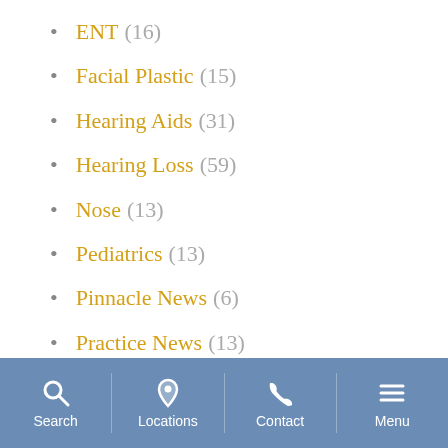ENT (16)
Facial Plastic (15)
Hearing Aids (31)
Hearing Loss (59)
Nose (13)
Pediatrics (13)
Pinnacle News (6)
Practice News (13)
Sinus (13)
Sleep (13)
Search  Locations  Contact  Menu